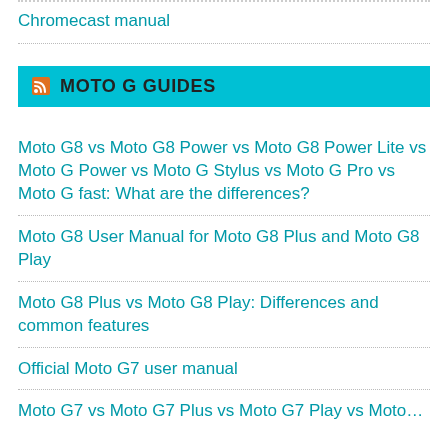Chromecast manual
MOTO G GUIDES
Moto G8 vs Moto G8 Power vs Moto G8 Power Lite vs Moto G Power vs Moto G Stylus vs Moto G Pro vs Moto G fast: What are the differences?
Moto G8 User Manual for Moto G8 Plus and Moto G8 Play
Moto G8 Plus vs Moto G8 Play: Differences and common features
Official Moto G7 user manual
Moto G7 vs Moto G7 Plus vs Moto G7 Play vs Moto…